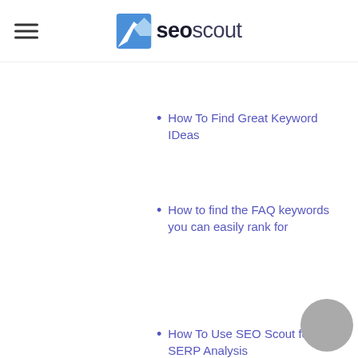SEO Scout
How To Find Great Keyword IDeas
How to find the FAQ keywords you can easily rank for
How To Use SEO Scout for SERP Analysis
How to Find New SEO Content Opportunities, Consistently
How to optimise your content for topical…